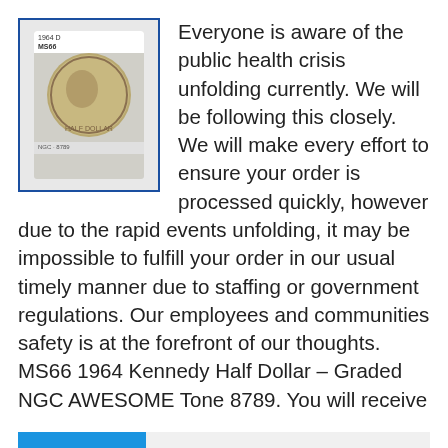[Figure (photo): Photograph of a coin in an NGC grading slab with blue border]
Everyone is aware of the public health crisis unfolding currently. We will be following this closely. We will make every effort to ensure your order is processed quickly, however due to the rapid events unfolding, it may be impossible to fulfill your order in our usual timely manner due to staffing or government regulations. Our employees and communities safety is at the forefront of our thoughts. MS66 1964 Kennedy Half Dollar – Graded NGC AWESOME Tone 8789. You will receive
Read more
ms66
1969 D Ngc Ms66 Silver Kennedy Half